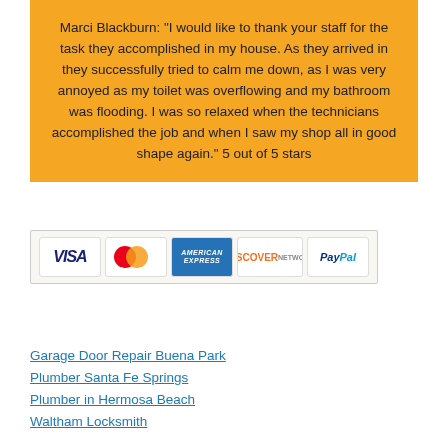Marci Blackburn: "I would like to thank your staff for the task they accomplished in my house. As they arrived in they successfully tried to calm me down, as I was very annoyed as my toilet was overflowing and my bathroom was flooding. I was so relaxed when the technicians accomplished the job and when I saw my shop all in good shape again." 5 out of 5 stars
[Figure (other): Payment method logos: VISA, MasterCard, American Express, Discover Network, PayPal]
Garage Door Repair Buena Park
Plumber Santa Fe Springs
Plumber in Hermosa Beach
Waltham Locksmith